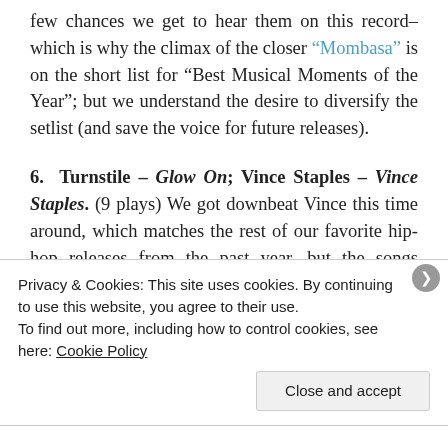few chances we get to hear them on this record–which is why the climax of the closer "Mombasa" is on the short list for "Best Musical Moments of the Year"; but we understand the desire to diversify the setlist (and save the voice for future releases).
6. Turnstile – Glow On; Vince Staples – Vince Staples. (9 plays) We got downbeat Vince this time around, which matches the rest of our favorite hip-hop releases from the past year, but the songs themselves weren't downers. Turnstile is probably the
Privacy & Cookies: This site uses cookies. By continuing to use this website, you agree to their use.
To find out more, including how to control cookies, see here: Cookie Policy
Close and accept